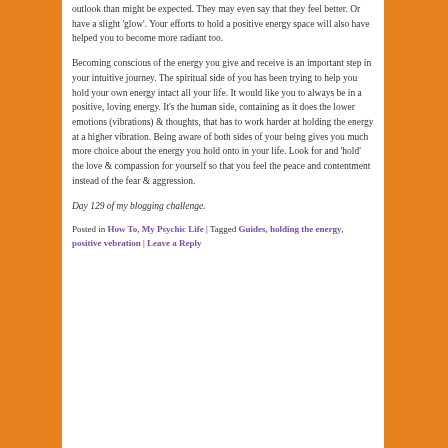outlook than might be expected. They may even say that they feel better. Or have a slight 'glow'. Your efforts to hold a positive energy space will also have helped you to become more radiant too.
Becoming conscious of the energy you give and receive is an important step in your intuitive journey. The spiritual side of you has been trying to help you hold your own energy intact all your life. It would like you to always be in a positive, loving energy. It's the human side, containing as it does the lower emotions (vibrations) & thoughts, that has to work harder at holding the energy at a higher vibration. Being aware of both sides of your being gives you much more choice about the energy you hold onto in your life. Look for and 'hold' the love & compassion for yourself so that you feel the peace and contentment instead of the fear & aggression.
Day 129 of my blogging challenge.
Posted in How To, My Psychic Life | Tagged Guides, holding the energy, positive vebration | Leave a Reply